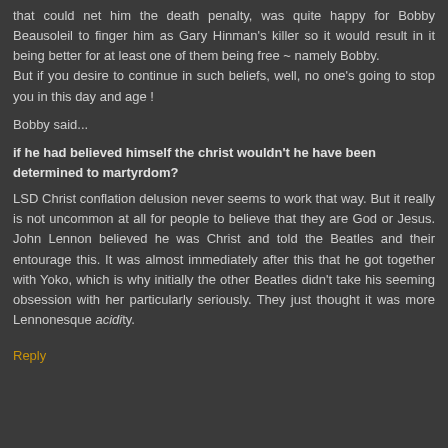that could net him the death penalty, was quite happy for Bobby Beausoleil to finger him as Gary Hinman's killer so it would result in it being better for at least one of them being free ~ namely Bobby.
But if you desire to continue in such beliefs, well, no one's going to stop you in this day and age !
Bobby said...
if he had believed himself the christ wouldn't he have been determined to martyrdom?
LSD Christ conflation delusion never seems to work that way. But it really is not uncommon at all for people to believe that they are God or Jesus. John Lennon believed he was Christ and told the Beatles and their entourage this. It was almost immediately after this that he got together with Yoko, which is why initially the other Beatles didn't take his seeming obsession with her particularly seriously. They just thought it was more Lennonesque acidity.
Reply